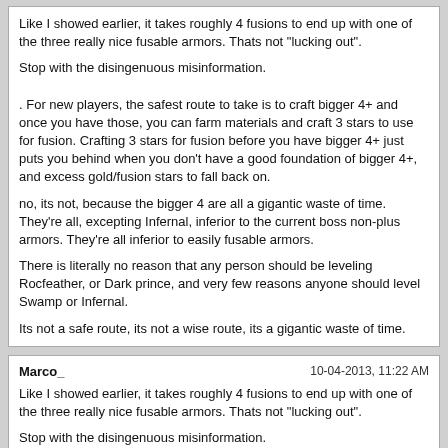Like I showed earlier, it takes roughly 4 fusions to end up with one of the three really nice fusable armors. Thats not "lucking out".

Stop with the disingenuous misinformation.

. For new players, the safest route to take is to craft bigger 4+ and once you have those, you can farm materials and craft 3 stars to use for fusion. Crafting 3 stars for fusion before you have bigger 4+ just puts you behind when you don't have a good foundation of bigger 4+, and excess gold/fusion stars to fall back on.

no, its not, because the bigger 4 are all a gigantic waste of time. They're all, excepting Infernal, inferior to the current boss non-plus armors. They're all inferior to easily fusable armors.

There is literally no reason that any person should be leveling Rocfeather, or Dark prince, and very few reasons anyone should level Swamp or Infernal.

Its not a safe route, its not a wise route, its a gigantic waste of time.
Marco_	10-04-2013, 11:22 AM

Like I showed earlier, it takes roughly 4 fusions to end up with one of the three really nice fusable armors. Thats not "lucking out".

Stop with the disingenuous misinformation.

Well, on the other hand your sample size of 1 person isn't exactly reliable either...

no, its not, because the bigger 4 are all a gigantic waste of time. They're all